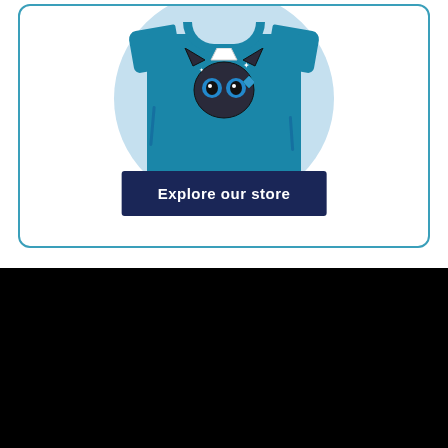[Figure (illustration): Blue t-shirt with cartoon cat design displayed on a light blue circular background, inside a rounded card with teal border]
Explore our store
[Figure (logo): Eurogamer logo: globe icon, vertical divider, and EUROGAMER text in white on black background]
Bad puns and video games since 1999.
Copyright © 2022 Gamer Network Limited, a ReedPop company.